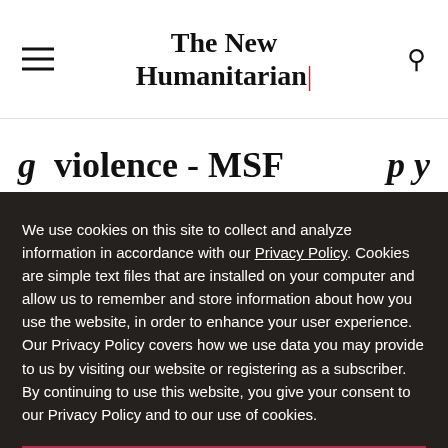The New Humanitarian
violence - MSF
We use cookies on this site to collect and analyze information in accordance with our Privacy Policy. Cookies are simple text files that are installed on your computer and allow us to remember and store information about how you use the website, in order to enhance your user experience. Our Privacy Policy covers how we use data you may provide to us by visiting our website or registering as a subscriber. By continuing to use this website, you give your consent to our Privacy Policy and to our use of cookies.
OK, I agree